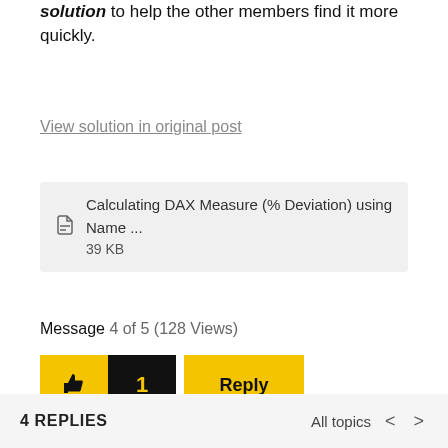solution to help the other members find it more quickly.
View solution in original post
[Figure (other): Attachment box with paperclip icon showing file: Calculating DAX Measure (% Deviation) using Name ... 39 KB]
Message 4 of 5 (128 Views)
[Figure (other): Like button (thumbs up, yellow), count badge (1, black/yellow), Reply button (yellow)]
4 REPLIES
All topics < >